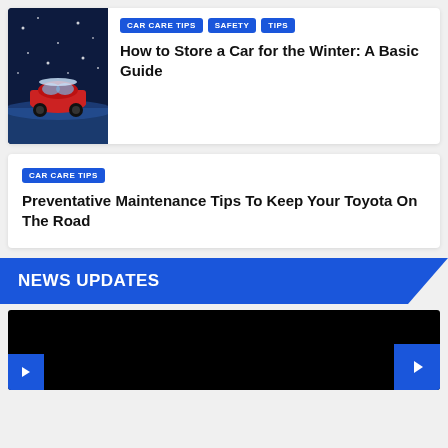[Figure (photo): Red Volkswagen Beetle car in snowy winter conditions, dark blue/night background with snow]
CAR CARE TIPS | SAFETY | TIPS
How to Store a Car for the Winter: A Basic Guide
CAR CARE TIPS
Preventative Maintenance Tips To Keep Your Toyota On The Road
NEWS UPDATES
[Figure (screenshot): Dark/black video player area with blue navigation buttons]